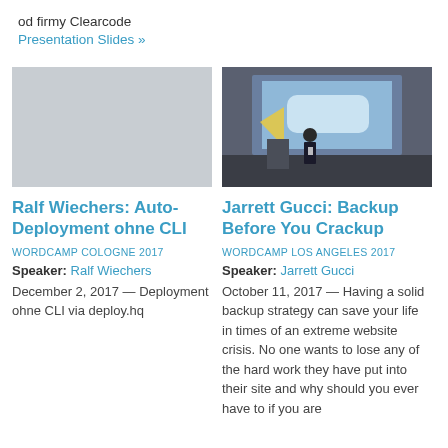od firmy Clearcode
Presentation Slides »
[Figure (photo): Empty placeholder image area for left card]
[Figure (photo): Photo of a speaker at a conference presenting at WordCamp Los Angeles 2017, with a blue slide projected on screen]
Ralf Wiechers: Auto-Deployment ohne CLI
Jarrett Gucci: Backup Before You Crackup
WORDCAMP COLOGNE 2017
WORDCAMP LOS ANGELES 2017
Speaker: Ralf Wiechers
Speaker: Jarrett Gucci
December 2, 2017 — Deployment ohne CLI via deploy.hq
October 11, 2017 — Having a solid backup strategy can save your life in times of an extreme website crisis. No one wants to lose any of the hard work they have put into their site and why should you ever have to if you are